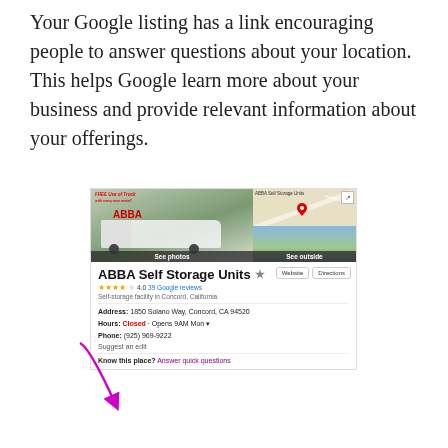Your Google listing has a link encouraging people to answer questions about your location. This helps Google learn more about your business and provide relevant information about your offerings.
[Figure (screenshot): Google Maps listing screenshot for ABBA Self Storage Units in Concord, California, showing photos, a map snippet, star rating of 4.0 with 39 Google reviews, address, hours (Closed, Opens 9AM Mon), phone number, 'Suggest an edit' link, and 'Know this place? Answer quick questions' link with a magenta arrow pointing to it.]